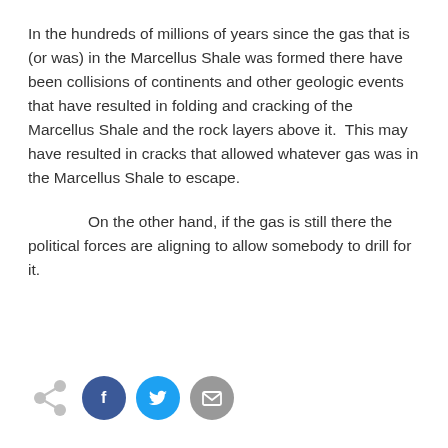In the hundreds of millions of years since the gas that is (or was) in the Marcellus Shale was formed there have been collisions of continents and other geologic events that have resulted in folding and cracking of the Marcellus Shale and the rock layers above it.  This may have resulted in cracks that allowed whatever gas was in the Marcellus Shale to escape.
On the other hand, if the gas is still there the political forces are aligning to allow somebody to drill for it.
[Figure (infographic): Social sharing bar with a share icon (grey), Facebook button (dark blue circle with f), Twitter button (light blue circle with bird), and email button (grey circle with envelope icon)]